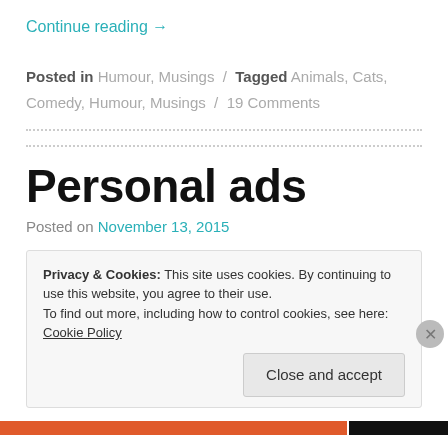Continue reading →
Posted in Humour, Musings / Tagged Animals, Cats, Comedy, Humour, Musings / 19 Comments
Personal ads
Posted on November 13, 2015
Privacy & Cookies: This site uses cookies. By continuing to use this website, you agree to their use. To find out more, including how to control cookies, see here: Cookie Policy
Close and accept